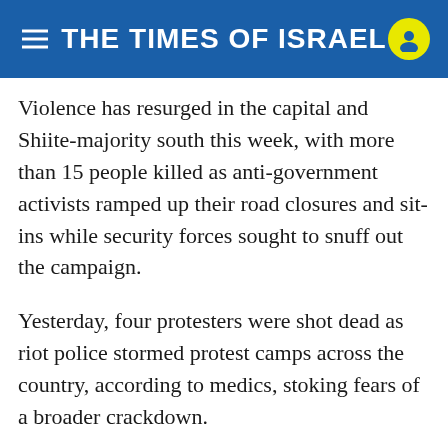THE TIMES OF ISRAEL
Violence has resurged in the capital and Shiite-majority south this week, with more than 15 people killed as anti-government activists ramped up their road closures and sit-ins while security forces sought to snuff out the campaign.
Yesterday, four protesters were shot dead as riot police stormed protest camps across the country, according to medics, stoking fears of a broader crackdown.
But the demonstrators returned in large numbers throughout the evening and by this morning, they were rallying again.